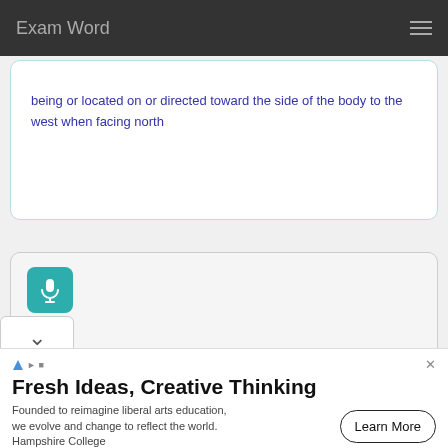Exam Word
being or located on or directed toward the side of the body to the west when facing north
[Figure (illustration): Microphone icon button with teal background]
length
[Figure (illustration): Chevron down arrow button]
Fresh Ideas, Creative Thinking
Founded to reimagine liberal arts education, we evolve and change to reflect the world. Hampshire College
Learn More